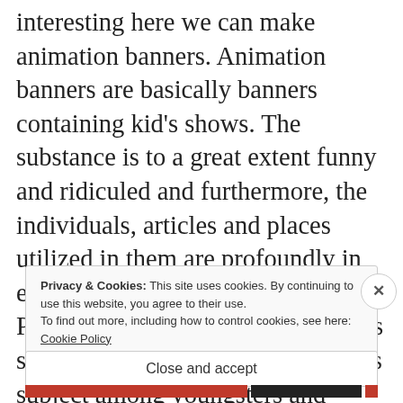interesting here we can make animation banners. Animation banners are basically banners containing kid's shows. The substance is to a great extent funny and ridiculed and furthermore, the individuals, articles and places utilized in them are profoundly in enlivened assortment. Animation Posters are utilized to promote kid's shows, and furthermore is a famous subject among youngsters and youthful
Privacy & Cookies: This site uses cookies. By continuing to use this website, you agree to their use. To find out more, including how to control cookies, see here: Cookie Policy
Close and accept